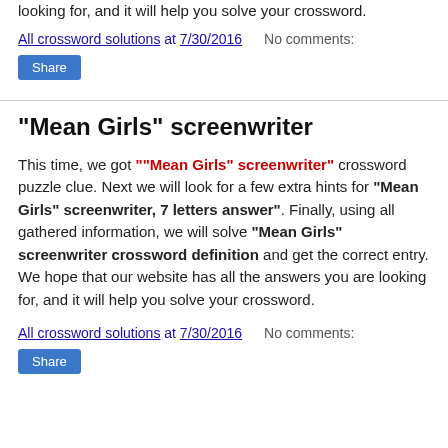looking for, and it will help you solve your crossword.
All crossword solutions at 7/30/2016   No comments:
Share
"Mean Girls" screenwriter
This time, we got ""Mean Girls" screenwriter" crossword puzzle clue. Next we will look for a few extra hints for "Mean Girls" screenwriter, 7 letters answer". Finally, using all gathered information, we will solve "Mean Girls" screenwriter crossword definition and get the correct entry. We hope that our website has all the answers you are looking for, and it will help you solve your crossword.
All crossword solutions at 7/30/2016   No comments:
Share